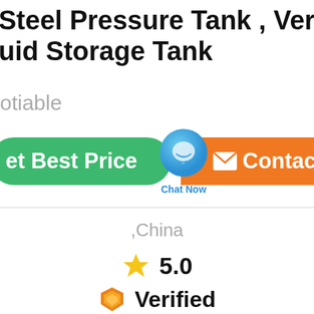Steel Pressure Tank , Vertical Ho... uid Storage Tank
Negotiable
[Figure (screenshot): Two CTA buttons: green 'Get Best Price' on left, orange 'Contact' on right, with a blue 'Chat Now' circular bubble overlaid between them]
,China
5.0
Verified